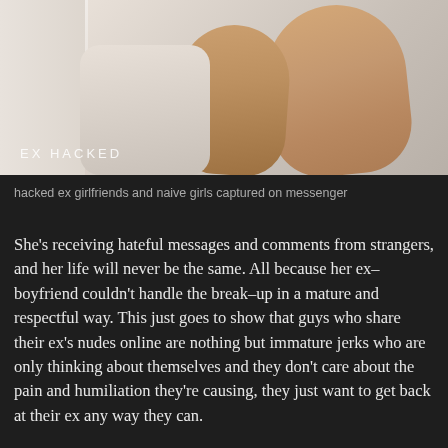[Figure (photo): Photo of two people's feet and legs entangled on white bed sheets, with text overlay 'EX HACKED' in white letters]
hacked ex girlfriends and naive girls captured on messenger
She's receiving hateful messages and comments from strangers, and her life will never be the same. All because her ex–boyfriend couldn't handle the break–up in a mature and respectful way. This just goes to show that guys who share their ex's nudes online are nothing but immature jerks who are only thinking about themselves and they don't care about the pain and humiliation they're causing, they just want to get back at their ex any way they can.